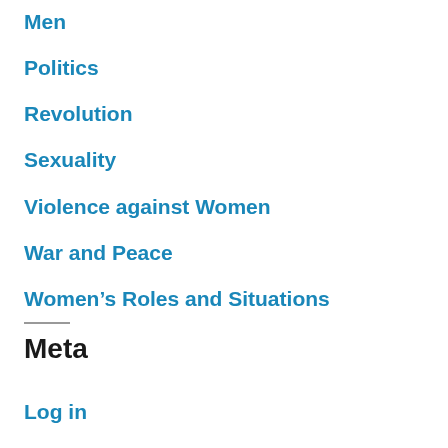Men
Politics
Revolution
Sexuality
Violence against Women
War and Peace
Women's Roles and Situations
Meta
Log in